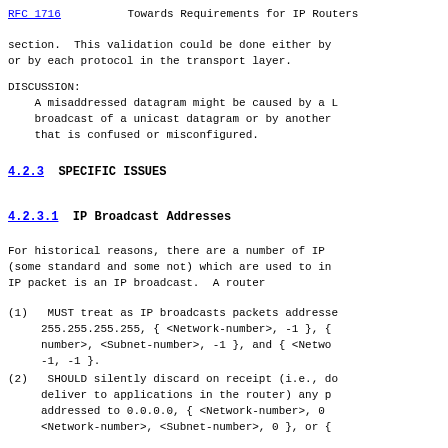RFC 1716    Towards Requirements for IP Routers
section.  This validation could be done either by
or by each protocol in the transport layer.
DISCUSSION:
   A misaddressed datagram might be caused by a L
   broadcast of a unicast datagram or by another
   that is confused or misconfigured.
4.2.3  SPECIFIC ISSUES
4.2.3.1  IP Broadcast Addresses
For historical reasons, there are a number of IP
(some standard and some not) which are used to in
IP packet is an IP broadcast.  A router
(1)  MUST treat as IP broadcasts packets addresse
     255.255.255.255, { <Network-number>, -1 }, {
     number>, <Subnet-number>, -1 }, and { <Netwo
     -1, -1 }.
(2)  SHOULD silently discard on receipt (i.e., do
     deliver to applications in the router) any p
     addressed to 0.0.0.0, { <Network-number>, 0
     <Network-number>, <Subnet-number>, 0 }, or {